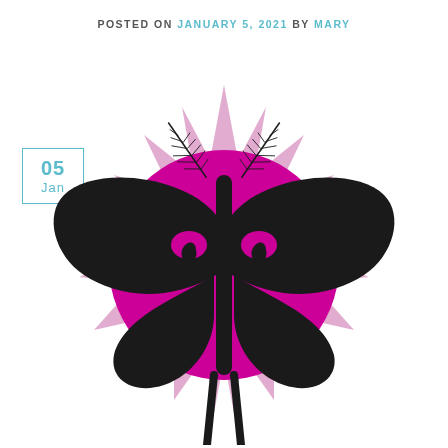POSTED ON JANUARY 5, 2021 BY MARY
05
Jan
[Figure (illustration): Decorative illustration of a stylized moth or butterfly with black wings spread over a magenta/pink circle, feathery antennae at top, and a spiky pink starburst shape behind it. The moth has ornate swirling patterns on its wings and long black legs extending downward.]